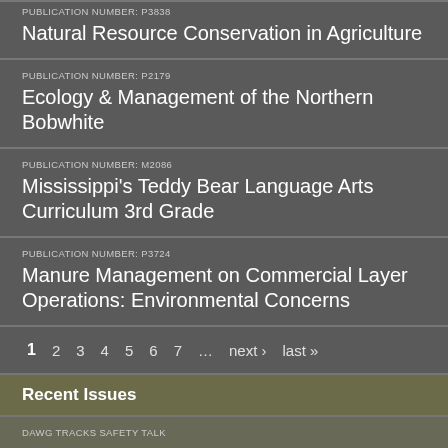PUBLICATION NUMBER: P3838
Natural Resource Conservation in Agriculture
PUBLICATION NUMBER: P2179
Ecology & Management of the Northern Bobwhite
PUBLICATION NUMBER: M2086
Mississippi's Teddy Bear Language Arts Curriculum 3rd Grade
PUBLICATION NUMBER: P3724
Manure Management on Commercial Layer Operations: Environmental Concerns
1  2  3  4  5  6  7  ...  next ›  last »
Recent Issues
DAWG TRACKS SAFETY TALK